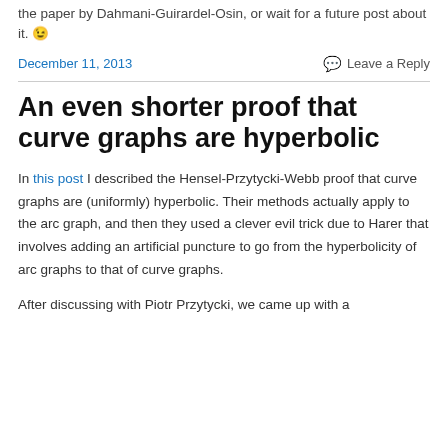the paper by Dahmani-Guirardel-Osin, or wait for a future post about it. 😉
December 11, 2013
Leave a Reply
An even shorter proof that curve graphs are hyperbolic
In this post I described the Hensel-Przytycki-Webb proof that curve graphs are (uniformly) hyperbolic. Their methods actually apply to the arc graph, and then they used a clever evil trick due to Harer that involves adding an artificial puncture to go from the hyperbolicity of arc graphs to that of curve graphs.
After discussing with Piotr Przytycki, we came up with a